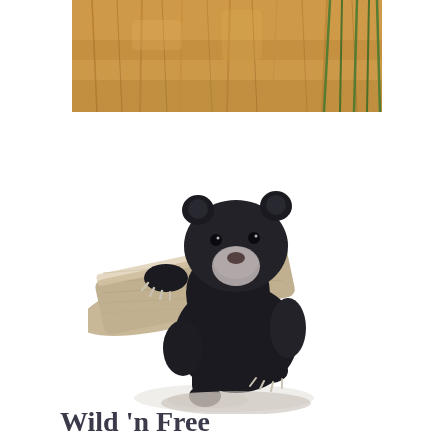[Figure (photo): Top strip photo of golden/amber grassy field with green grass stalks, warm natural tones, close-up of dried grass or wheat]
[Figure (photo): A black bear cub leaning over a wooden log, looking forward at the camera, with claws visible and a light-colored snout, on white background]
Wild 'n Free